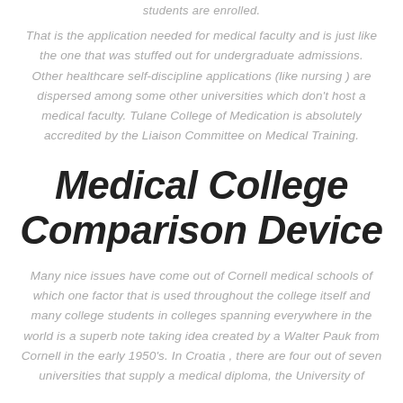students are enrolled.
That is the application needed for medical faculty and is just like the one that was stuffed out for undergraduate admissions. Other healthcare self-discipline applications (like nursing ) are dispersed among some other universities which don't host a medical faculty. Tulane College of Medication is absolutely accredited by the Liaison Committee on Medical Training.
Medical College Comparison Device
Many nice issues have come out of Cornell medical schools of which one factor that is used throughout the college itself and many college students in colleges spanning everywhere in the world is a superb note taking idea created by a Walter Pauk from Cornell in the early 1950's. In Croatia , there are four out of seven universities that supply a medical diploma, the University of